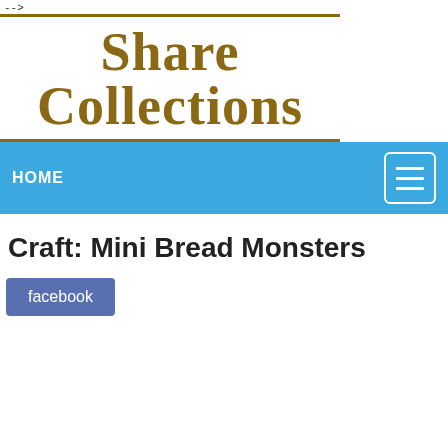-->
Share Collections
HOME
Craft: Mini Bread Monsters
facebook